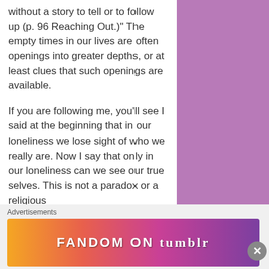without a story to tell or to follow up (p. 96 Reaching Out.)”  The empty times in our lives are often openings into greater depths, or at least clues that such openings are available.
If you are following me, you’ll see I said at the beginning that in our loneliness we lose sight of who we really are.  Now I say that only in our loneliness can we see our true selves.  This is not a paradox or a religious
Advertisements
[Figure (infographic): Fandom on Tumblr advertisement banner with colorful gradient background (orange to purple) and bold white text reading FANDOM ON tumblr]